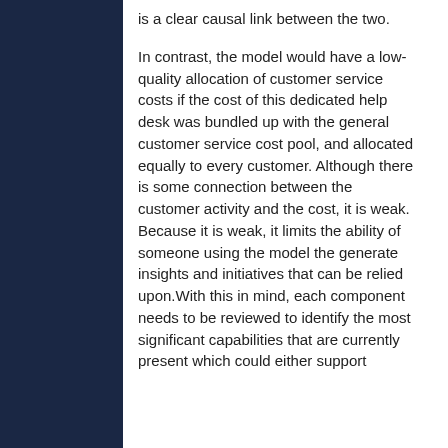is a clear causal link between the two.
In contrast, the model would have a low-quality allocation of customer service costs if the cost of this dedicated help desk was bundled up with the general customer service cost pool, and allocated equally to every customer. Although there is some connection between the customer activity and the cost, it is weak. Because it is weak, it limits the ability of someone using the model the generate insights and initiatives that can be relied upon.With this in mind, each component needs to be reviewed to identify the most significant capabilities that are currently present which could either support or limit the level of quality for BCM.